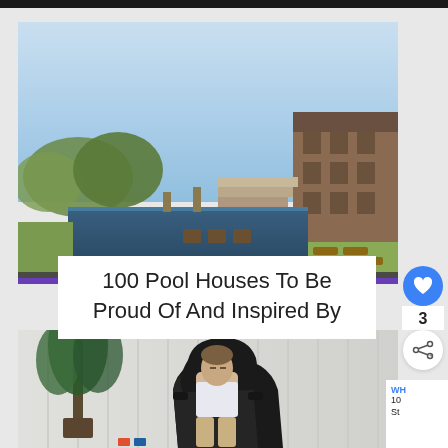[Figure (photo): Aerial view of a luxury home with an infinity pool, lounge chairs, manicured lawn, and a large modern brick house in the background under a blue sky.]
100 Pool Houses To Be Proud Of And Inspired By
[Figure (photo): A man reclines in a black massage chair with eyes closed, a large indoor plant in the background against white paneled walls.]